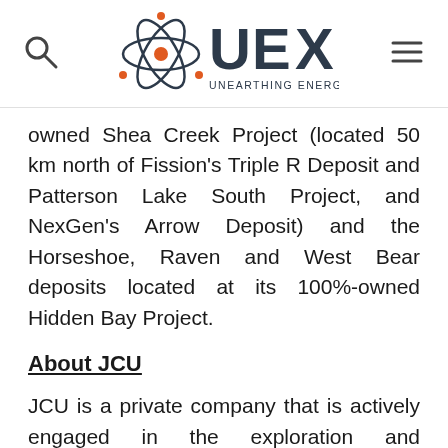[Figure (logo): UEX Corporation logo with atom icon and tagline UNEARTHING ENERGY METALS, plus search and menu icons]
owned Shea Creek Project (located 50 km north of Fission's Triple R Deposit and Patterson Lake South Project, and NexGen's Arrow Deposit) and the Horseshoe, Raven and West Bear deposits located at its 100%-owned Hidden Bay Project.
About JCU
JCU is a private company that is actively engaged in the exploration and development in Canada. JCU is owned by